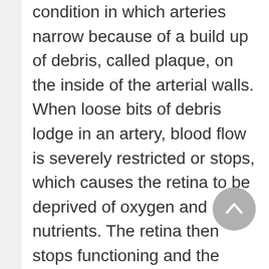condition in which arteries narrow because of a build up of debris, called plaque, on the inside of the arterial walls. When loose bits of debris lodge in an artery, blood flow is severely restricted or stops, which causes the retina to be deprived of oxygen and nutrients. The retina then stops functioning and the person loses vision. If the blockage lasts only a short time, vision is lost only temporarily and returns when blood flow to the retina begins again. Plaque